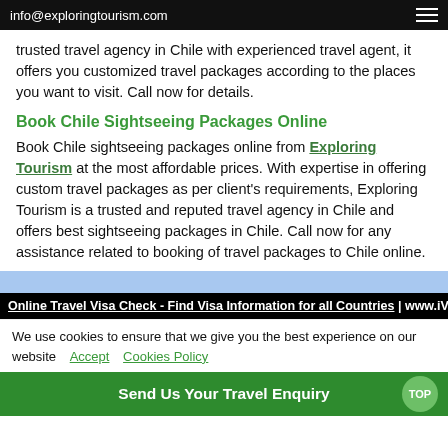info@exploringtourism.com
trusted travel agency in Chile with experienced travel agent, it offers you customized travel packages according to the places you want to visit. Call now for details.
Book Chile Sightseeing Packages Online
Book Chile sightseeing packages online from Exploring Tourism at the most affordable prices. With expertise in offering custom travel packages as per client's requirements, Exploring Tourism is a trusted and reputed travel agency in Chile and offers best sightseeing packages in Chile. Call now for any assistance related to booking of travel packages to Chile online.
Online Travel Visa Check - Find Visa Information for all Countries | www.iVISA.co
We use cookies to ensure that we give you the best experience on our website  Accept   Cookies Policy
Send Us Your Travel Enquiry